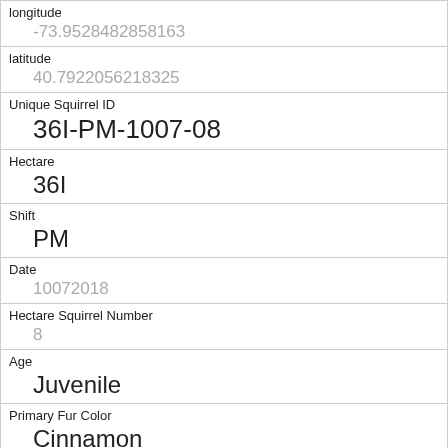| Field | Value |
| --- | --- |
| longitude | -73.9528482858163 |
| latitude | 40.7922056218325 |
| Unique Squirrel ID | 36I-PM-1007-08 |
| Hectare | 36I |
| Shift | PM |
| Date | 10072018 |
| Hectare Squirrel Number | 8 |
| Age | Juvenile |
| Primary Fur Color | Cinnamon |
| Highlight Fur Color | Gray |
| Combination of Primary and Highlight Color |  |